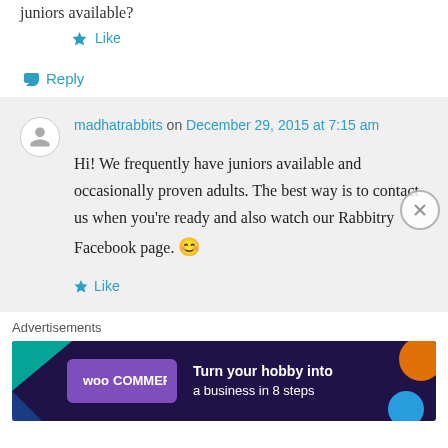juniors available?
★ Like
↪ Reply
madhatrabbits on December 29, 2015 at 7:15 am
Hi! We frequently have juniors available and occasionally proven adults. The best way is to contact us when you're ready and also watch our Rabbitry Facebook page. 😊
★ Like
Advertisements
[Figure (illustration): WooCommerce advertisement banner: 'Turn your hobby into a business in 8 steps']